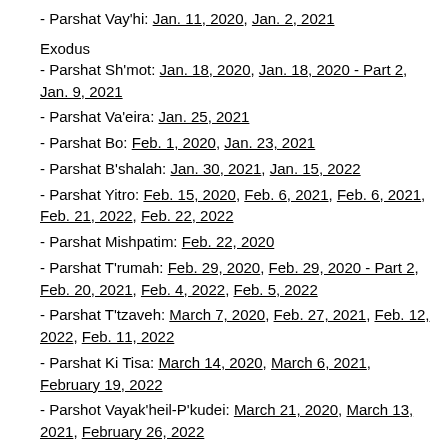- Parshat Vay'hi: Jan. 11, 2020, Jan. 2, 2021
Exodus
- Parshat Sh'mot: Jan. 18, 2020, Jan. 18, 2020 - Part 2, Jan. 9, 2021
- Parshat Va'eira: Jan. 25, 2021
- Parshat Bo: Feb. 1, 2020, Jan. 23, 2021
- Parshat B'shalah: Jan. 30, 2021, Jan. 15, 2022
- Parshat Yitro: Feb. 15, 2020, Feb. 6, 2021, Feb. 6, 2021, Feb. 21, 2022, Feb. 22, 2022
- Parshat Mishpatim: Feb. 22, 2020
- Parshat T'rumah: Feb. 29, 2020, Feb. 29, 2020 - Part 2, Feb. 20, 2021, Feb. 4, 2022, Feb. 5, 2022
- Parshat T'tzaveh: March 7, 2020, Feb. 27, 2021, Feb. 12, 2022, Feb. 11, 2022
- Parshat Ki Tisa: March 14, 2020, March 6, 2021, February 19, 2022
- Parshot Vayak'heil-P'kudei: March 21, 2020, March 13, 2021, February 26, 2022